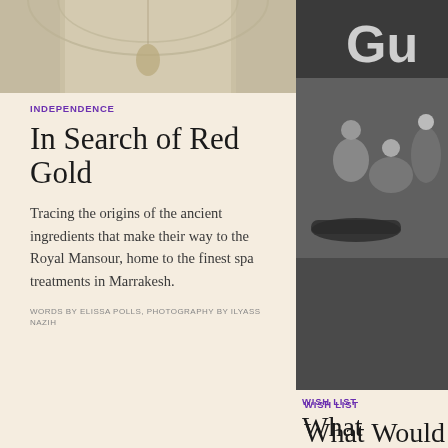[Figure (photo): Interior architectural photo showing ornate ceiling and hanging vessel, muted warm tones]
INDEPENDENCE
In Search of Red Gold
Tracing the origins of the ancient ingredients that make their way to the Royal Mansour, home to the finest spa treatments in Marrakesh.
WORDS BY ELISSA POLLS, PHOTOGRAPHY BY ILYASS NAZIH
[Figure (photo): Black and white photo of people near racing car with Gulf branding at a Grand Prix event]
WISH LIST
What Would McQueen Do
How to look (and feel) while attending the Grand Prix.
WORDS BY JEREMY MALMAN, ILL... AHONEN & LAMBERG